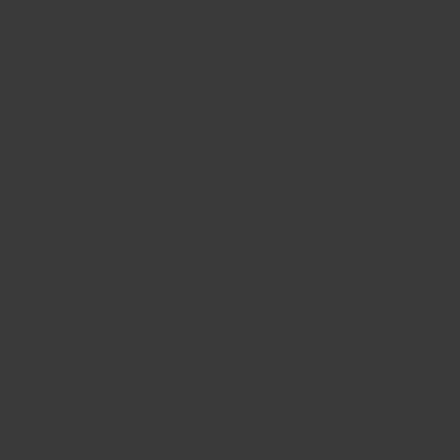Debbie, you were absolute...
I am here in Israel, watching all of the... who will be the first, second, third, etc...
I think it is a shame that people are a... Lebanon, and that the Muslim Brothe...
My favorite non-shocker is Jordan. W... immune???
Ben-Yehudah on February 1, 2011 at 3:
Reply
Debbie,
You forgot to add to the lis... going to be radical islamic... weapons. It is Turkey. When Erdouan... was only warranty of stability of Atatu... of army elite under false charges) rem... politicians(most of them are even dum... them, under (false) promises of includ...